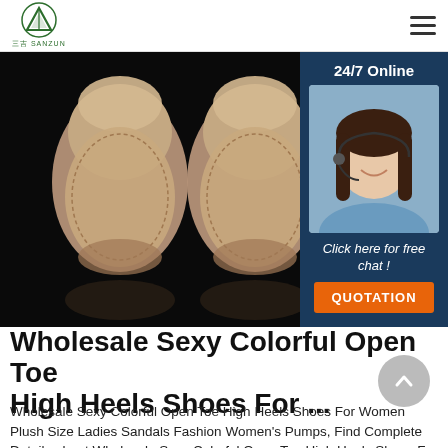三吉 SANZUN
[Figure (photo): Top-down view of two beige/tan slip-on shoes (slippers) on a black background with reflections]
[Figure (infographic): Customer service chat widget: '24/7 Online', photo of smiling woman with headset, 'Click here for free chat!', orange QUOTATION button]
Wholesale Sexy Colorful Open Toe High Heels Shoes For ...
Wholesale Sexy Colorful Open Toe High Heels Shoes For Women Plush Size Ladies Sandals Fashion Women's Pumps, Find Complete Details about Wholesale Sexy Colorful Open Toe High Heels Shoes For Women Plush Size Ladies Sandals Fashion